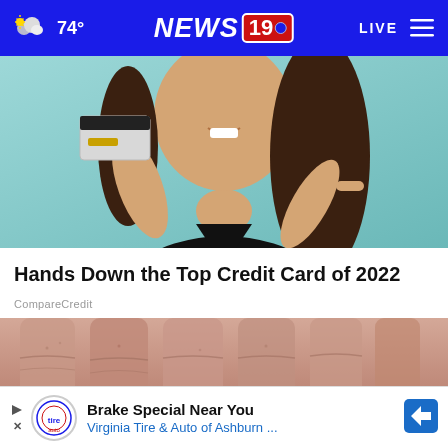74° NEWS 19 LIVE
[Figure (photo): Woman in black v-neck shirt holding a credit card up near her face and pointing at it with her other hand, teal/mint background]
Hands Down the Top Credit Card of 2022
CompareCredit
[Figure (photo): Close-up photo of wrinkled/aged skin on fingers or knuckles, pinkish texture]
Brake Special Near You
Virginia Tire & Auto of Ashburn ...